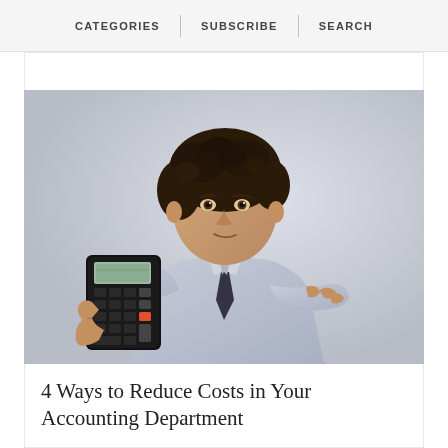CATEGORIES | SUBSCRIBE | SEARCH
[Figure (photo): Young man in a light blue dress shirt and dark tie, holding up a black calculator in one hand and gesturing with the other hand, wearing a wristwatch, against a light grey background.]
4 Ways to Reduce Costs in Your Accounting Department